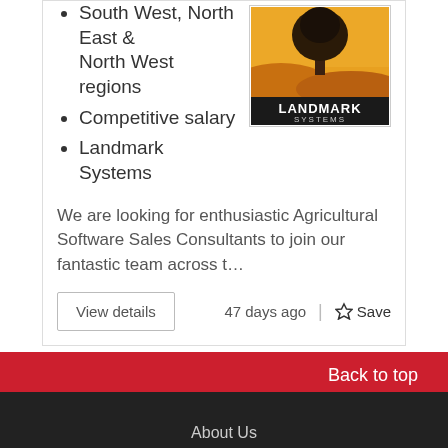South West, North East & North West regions
Competitive salary
Landmark Systems
[Figure (logo): Landmark Systems logo: orange/yellow background with black tree silhouette over hills, black banner with white text reading LANDMARK SYSTEMS]
We are looking for enthusiastic Agricultural Software Sales Consultants to join our fantastic team across t…
View details
47 days ago
☆ Save
RSS
Back to top
About Us